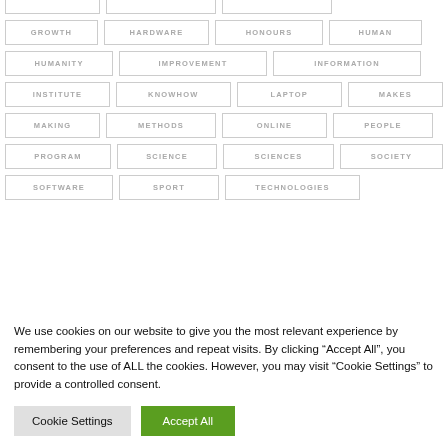GROWTH
HARDWARE
HONOURS
HUMAN
HUMANITY
IMPROVEMENT
INFORMATION
INSTITUTE
KNOWHOW
LAPTOP
MAKES
MAKING
METHODS
ONLINE
PEOPLE
PROGRAM
SCIENCE
SCIENCES
SOCIETY
SOFTWARE
SPORT
TECHNOLOGIES
We use cookies on our website to give you the most relevant experience by remembering your preferences and repeat visits. By clicking “Accept All”, you consent to the use of ALL the cookies. However, you may visit “Cookie Settings” to provide a controlled consent.